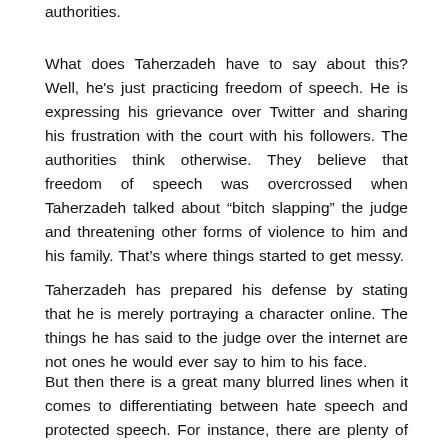authorities.
What does Taherzadeh have to say about this? Well, he's just practicing freedom of speech. He is expressing his grievance over Twitter and sharing his frustration with the court with his followers. The authorities think otherwise. They believe that freedom of speech was overcrossed when Taherzadeh talked about “bitch slapping” the judge and threatening other forms of violence to him and his family. That’s where things started to get messy.
Taherzadeh has prepared his defense by stating that he is merely portraying a character online. The things he has said to the judge over the internet are not ones he would ever say to him to his face.
But then there is a great many blurred lines when it comes to differentiating between hate speech and protected speech. For instance, there are plenty of loopholes where